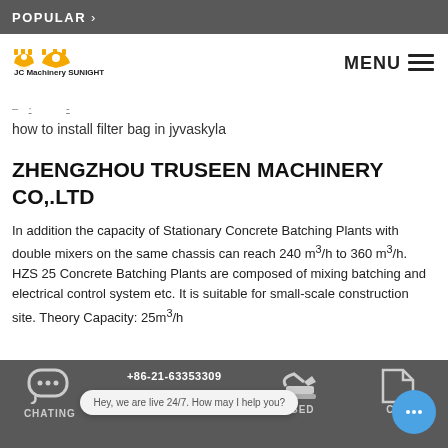POPULAR >
[Figure (logo): JC Machinery SUNIGHT logo with orange gear icons]
how to install filter bag in jyvaskyla
ZHENGZHOU TRUSEEN MACHINERY CO,.LTD
In addition the capacity of Stationary Concrete Batching Plants with double mixers on the same chassis can reach 240 m³/h to 360 m³/h. HZS 25 Concrete Batching Plants are composed of mixing batching and electrical control system etc. It is suitable for small-scale construction site. Theory Capacity: 25m³/h
CHATING  +86-21-63353309  USED  CAS  Hey, we are live 24/7. How may I help you?